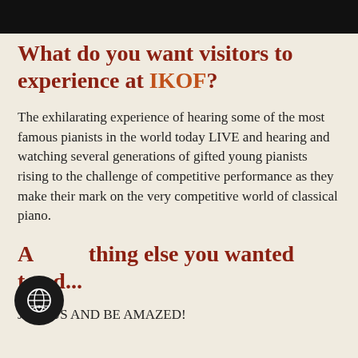[Figure (photo): Dark photo bar at top of page, showing partial image of a piano or performance venue]
What do you want visitors to experience at IKOF?
The exhilarating experience of hearing some of the most famous pianists in the world today LIVE and hearing and watching several generations of gifted young pianists rising to the challenge of competitive performance as they make their mark on the very competitive world of classical piano.
Anything else you wanted to add...
JOIN US AND BE AMAZED!